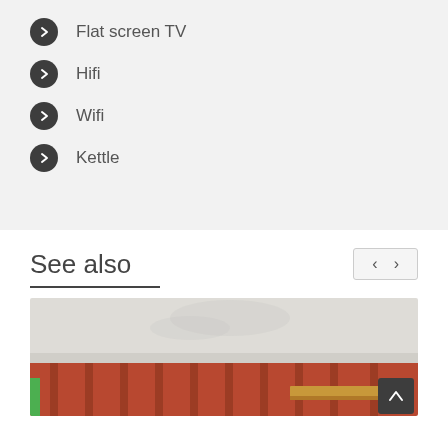Flat screen TV
Hifi
Wifi
Kettle
See also
[Figure (photo): Interior room photo showing ceiling and red/orange curtains with a wooden bed frame]